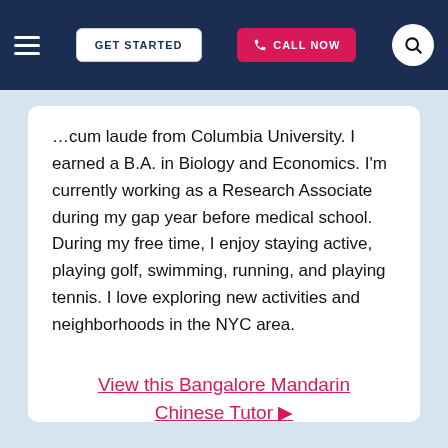GET STARTED | CALL NOW
…cum laude from Columbia University. I earned a B.A. in Biology and Economics. I'm currently working as a Research Associate during my gap year before medical school. During my free time, I enjoy staying active, playing golf, swimming, running, and playing tennis. I love exploring new activities and neighborhoods in the NYC area.
View this Bangalore Mandarin Chinese Tutor ▶